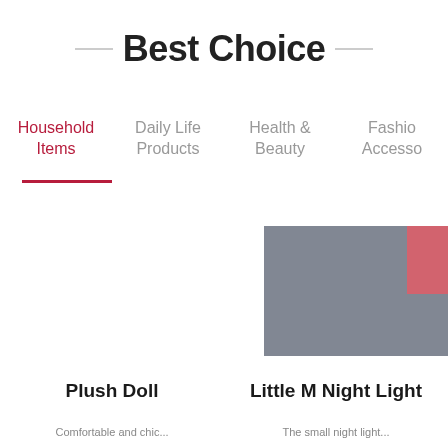Best Choice
Household Items
Daily Life Products
Health & Beauty
Fashion Accessories
[Figure (illustration): Gray rectangular product image block with overlapping red/pink square, representing product thumbnails in a category listing]
Plush Doll
Little M Night Light
Comfortable and clean...
The small night light...